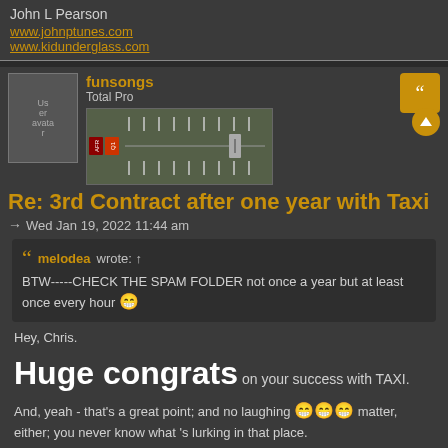John L Pearson
www.johnptunes.com
www.kidunderglass.com
funsongs
Total Pro
[Figure (screenshot): Equalizer/mixer plugin image showing fader controls]
Re: 3rd Contract after one year with Taxi
Wed Jan 19, 2022 11:44 am
melodea wrote: ↑
BTW-----CHECK THE SPAM FOLDER not once a year but at least once every hour 😁
Hey, Chris.
Huge congrats on your success with TAXI.
And, yeah - that's a great point; and no laughing 😁😁😁 matter, either; you never know what 's lurking in that place.
I've discovered Private Messages from friends on this forum, that got 'filed'